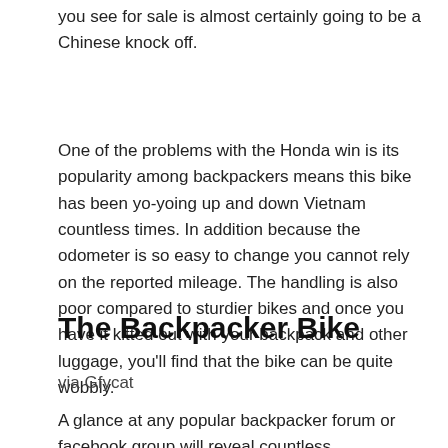you see for sale is almost certainly going to be a Chinese knock off.
One of the problems with the Honda win is its popularity among backpackers means this bike has been yo-yoing up and down Vietnam countless times. In addition because the odometer is so easy to change you cannot rely on the reported mileage. The handling is also poor compared to sturdier bikes and once you have it kitted out with your backpack and other luggage, you'll find that the bike can be quite wobbly.
The Backpacker Bike
via Gfycat
A glance at any popular backpacker forum or facebook group will reveal countless advertisements for Honda